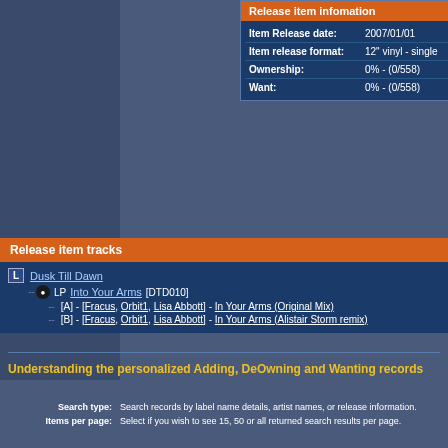Release item infomation
| Field | Value |
| --- | --- |
| Item Release date: | 2007/01/01 |
| Item release format: | 12" vinyl - single |
| Ownership: | 0% - (0/558) |
| Want: | 0% - (0/558) |
Release item tracks
L Dusk Till Dawn
  LP Into Your Arms [DTD010]
    [A] - [Fracus, Orbit1, Lisa Abbott] - In Your Arms (Original Mix)
    [B] - [Fracus, Orbit1, Lisa Abbott] - In Your Arms (Alistair Storm remix)
Understanding the personalized Adding, DeOwning and Wanting records
| Label | Description |
| --- | --- |
| Search type: | Search records by label name details, artist names, or release information. |
| Items per page: | Select if you wish to see 15, 50 or all returned search results per page. |
| Search by: | Search by the actual track name (e.g. "Shooting star"), or search by the release name (e.g. Bonkers). Note most vinyl releases and singles do not carry a release name, thus the featured track (side A, track 1) will be the name. |
| Search starting with: | Once you click a button you have started the filtering search, you will list all items starting with the letter you click. Note the letter "#" indicates anything that does not start with an alphabetic letter (e.g. |